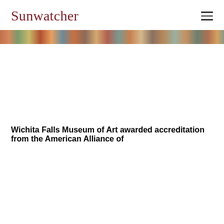Sunwatcher
[Figure (photo): Horizontal banner strip showing a colorful collage of artwork images]
Wichita Falls Museum of Art awarded accreditation from the American Alliance of